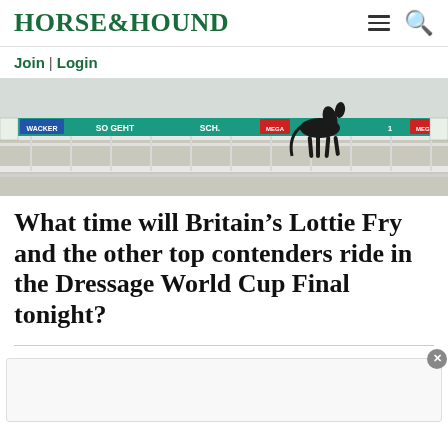HORSE&HOUND
Join | Login
[Figure (photo): Dressage arena with horse and rider, advertising boards visible along the arena edge including text 'SO GEHT SCH.' in teal/green, white fence rails, sand surface]
What time will Britain’s Lottie Fry and the other top contenders ride in the Dressage World Cup Final tonight?
[Figure (other): Advertisement placeholder box with close (X) button in top right corner]